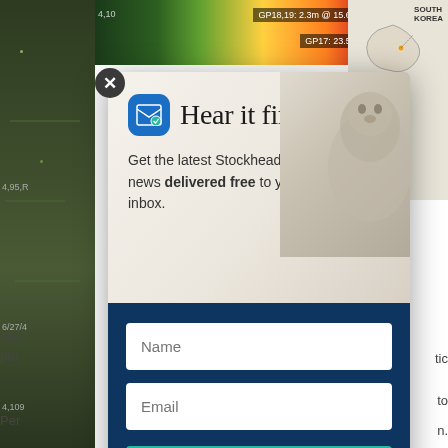[Figure (screenshot): Background showing satellite/map imagery with article text partially visible behind a modal popup]
Hear it first
Get the latest Stockhead news delivered free to your inbox.
[Figure (infographic): Name input field placeholder]
[Figure (infographic): Email input field placeholder]
SIGN ME UP